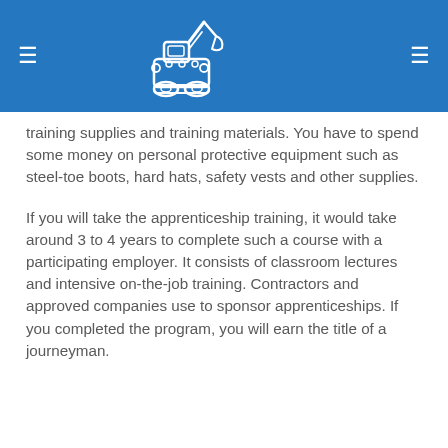Header with hamburger menu icons and construction equipment logo
training supplies and training materials. You have to spend some money on personal protective equipment such as steel-toe boots, hard hats, safety vests and other supplies.
If you will take the apprenticeship training, it would take around 3 to 4 years to complete such a course with a participating employer. It consists of classroom lectures and intensive on-the-job training. Contractors and approved companies use to sponsor apprenticeships. If you completed the program, you will earn the title of a journeyman.